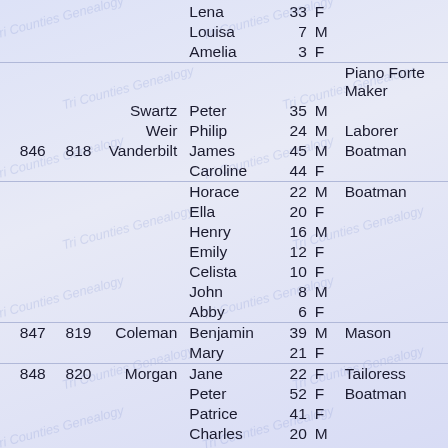| #1 | #2 | Surname | First Name | Age | Sex | Occupation |
| --- | --- | --- | --- | --- | --- | --- |
|  |  |  | Lena | 33 | F |  |
|  |  |  | Louisa | 7 | M |  |
|  |  |  | Amelia | 3 | F |  |
|  |  | Swartz | Peter | 35 | M | Piano Forte Maker |
|  |  | Weir | Philip | 24 | M | Laborer |
| 846 | 818 | Vanderbilt | James | 45 | M | Boatman |
|  |  |  | Caroline | 44 | F |  |
|  |  |  | Horace | 22 | M | Boatman |
|  |  |  | Ella | 20 | F |  |
|  |  |  | Henry | 16 | M |  |
|  |  |  | Emily | 12 | F |  |
|  |  |  | Celista | 10 | F |  |
|  |  |  | John | 8 | M |  |
|  |  |  | Abby | 6 | F |  |
| 847 | 819 | Coleman | Benjamin | 39 | M | Mason |
|  |  |  | Mary | 21 | F |  |
| 848 | 820 | Morgan | Jane | 22 | F | Tailoress |
|  |  |  | Peter | 52 | F | Boatman |
|  |  |  | Patrice | 41 | F |  |
|  |  |  | Charles | 20 | M |  |